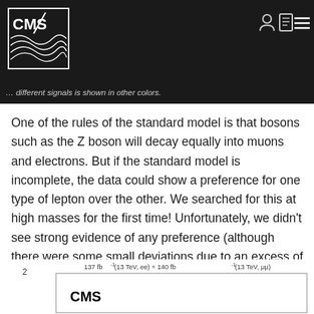CMS — different signals is shown in other colors.
One of the rules of the standard model is that bosons such as the Z boson will decay equally into muons and electrons. But if the standard model is incomplete, the data could show a preference for one type of lepton over the other. We searched for this at high masses for the first time! Unfortunately, we didn't see strong evidence of any preference (although there were some small deviations due to an excess of electron events, which we should keep an eye on in the future). Figure 6 shows the ratio we observed.
[Figure (continuous-plot): Partial view of Figure 6 showing a CMS plot with label '137 fb⁻¹ (13 TeV, ee) + 140 fb⁻¹ (13 TeV, μμ)' and y-axis value 2 visible, with CMS label in bold inside the plot box.]